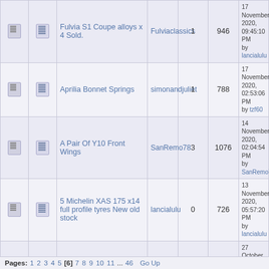|  |  | Title | Author | Replies | Views | Last Post |
| --- | --- | --- | --- | --- | --- | --- |
| [icon] | [icon] | Fulvia S1 Coupe alloys x 4 Sold. | Fulviaclassics | 1 | 946 | 17 November, 2020, 09:45:10 PM by lancialulu |
| [icon] | [icon] | Aprilia Bonnet Springs | simonandjuliet | 1 | 788 | 17 November, 2020, 02:53:06 PM by tzf60 |
| [icon] | [icon] | A Pair Of Y10 Front Wings | SanRemo78 | 3 | 1076 | 14 November, 2020, 02:04:54 PM by SanRemo78 |
| [icon] | [icon] | 5 Michelin XAS 175 x14 full profile tyres New old stock | lancialulu | 0 | 726 | 13 November, 2020, 05:57:20 PM by lancialulu |
| [icon] | [icon] | VL's to give away | lancialulu | 0 | 1072 | 27 October, 2020, 11:44:24 AM by lancialulu |
| [icon] | [icon] | Aurelia spin-on oil filter conversion kit | chriswgawne | 2 | 1273 | 24 October, 2020, 03:52:26 PM by chriswgawne |
Pages: 1 2 3 4 5 [6] 7 8 9 10 11 ... 46  Go Up